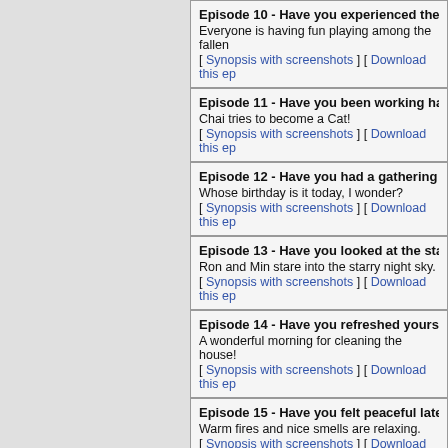Episode 10 - Have you experienced the seas... Everyone is having fun playing among the fallen... [ Synopsis with screenshots ] [ Download this ep...
Episode 11 - Have you been working hard? Chai tries to become a Cat! [ Synopsis with screenshots ] [ Download this ep...
Episode 12 - Have you had a gathering lately... Whose birthday is it today, I wonder? [ Synopsis with screenshots ] [ Download this ep...
Episode 13 - Have you looked at the stars lat... Ron and Min stare into the starry night sky. [ Synopsis with screenshots ] [ Download this ep...
Episode 14 - Have you refreshed yourself lat... A wonderful morning for cleaning the house! [ Synopsis with screenshots ] [ Download this ep...
Episode 15 - Have you felt peaceful lately? Warm fires and nice smells are relaxing. [ Synopsis with screenshots ] [ Download this ep...
Episode 16 - Have you had a good sweat late... Aru and Ron engage in competition. [ Synopsis with screenshots ] [ Download this ep...